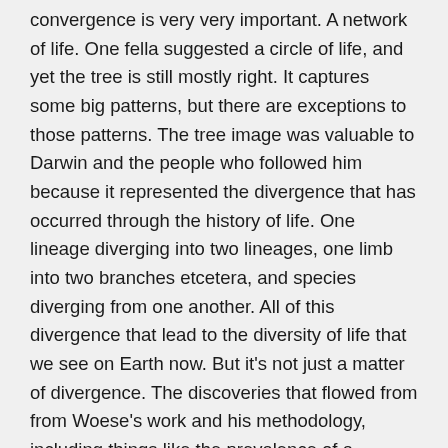convergence is very very important. A network of life. One fella suggested a circle of life, and yet the tree is still mostly right. It captures some big patterns, but there are exceptions to those patterns. The tree image was valuable to Darwin and the people who followed him because it represented the divergence that has occurred through the history of life. One lineage diverging into two lineages, one limb into two branches etcetera, and species diverging from one another. All of this divergence that lead to the diversity of life that we see on Earth now. But it's not just a matter of divergence. The discoveries that flowed from from Woese's work and his methodology, including things like the prevalence of a phenomenon called horizontal gene transfer - genes moving sideways across boundaries - those represented convergence. And so, the real history of life is a history of